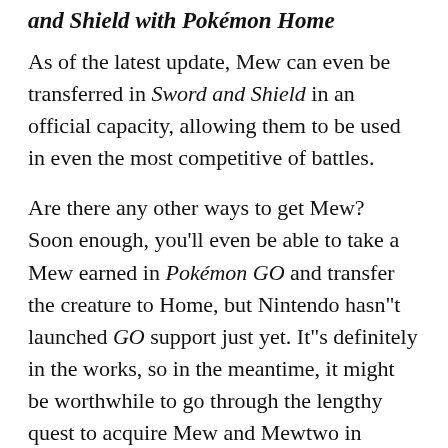and Shield with Pokémon Home
As of the latest update, Mew can even be transferred in Sword and Shield in an official capacity, allowing them to be used in even the most competitive of battles.
Are there any other ways to get Mew? Soon enough, you'll even be able to take a Mew earned in Pokémon GO and transfer the creature to Home, but Nintendo hasn"t launched GO support just yet. It"s definitely in the works, so in the meantime, it might be worthwhile to go through the lengthy quest to acquire Mew and Mewtwo in Pokémon GO. This method might be very time-consuming, but at least it"s free! You"ll just have to wait an untold amount of time for GO support in Home before the transfer can happen.
It"s also technically possible that you might receive a